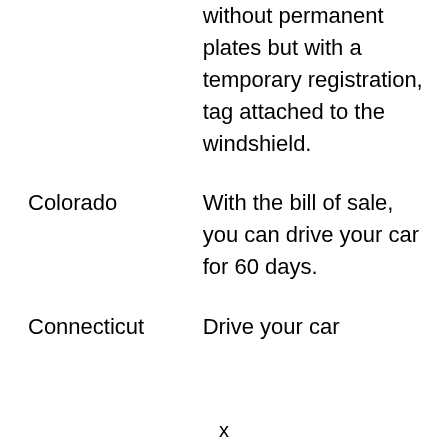without permanent plates but with a temporary registration, tag attached to the windshield.
Colorado
With the bill of sale, you can drive your car for 60 days.
Connecticut
Drive your car
x